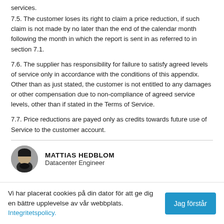services.
7.5. The customer loses its right to claim a price reduction, if such claim is not made by no later than the end of the calendar month following the month in which the report is sent in as referred to in section 7.1.
7.6. The supplier has responsibility for failure to satisfy agreed levels of service only in accordance with the conditions of this appendix. Other than as just stated, the customer is not entitled to any damages or other compensation due to non-compliance of agreed service levels, other than if stated in the Terms of Service.
7.7. Price reductions are payed only as credits towards future use of Service to the customer account.
[Figure (photo): Circular headshot photo of Mattias Hedblom, a man in a dark shirt against a grey background.]
MATTIAS HEDBLOM
Datacenter Engineer
Vi har placerat cookies på din dator för att ge dig en bättre upplevelse av vår webbplats. Integritetspolicy.